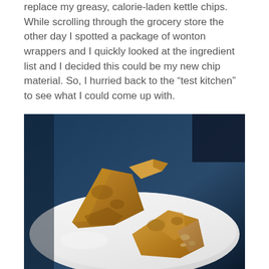replace my greasy, calorie-laden kettle chips. While scrolling through the grocery store the other day I spotted a package of wonton wrappers and I quickly looked at the ingredient list and I decided this could be my new chip material. So, I hurried back to the “test kitchen” to see what I could come up with.
[Figure (photo): Photo of baked wonton wrappers on a white plate, showing golden-brown crispy folded wonton pieces, some broken open revealing a filling, placed on a white ceramic plate with a dark background.]